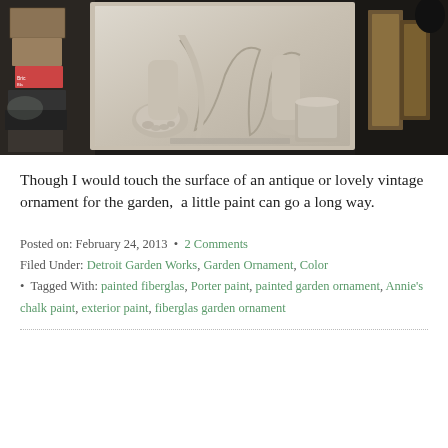[Figure (photo): A close-up photograph of a stone or concrete garden sculpture/relief panel showing feet and lower legs of figures, resting on a shelf with boxes and picture frames in the background.]
Though I would touch the surface of an antique or lovely vintage ornament for the garden,  a little paint can go a long way.
Posted on: February 24, 2013 · 2 Comments
Filed Under: Detroit Garden Works, Garden Ornament, Color
· Tagged With: painted fiberglas, Porter paint, painted garden ornament, Annie's chalk paint, exterior paint, fiberglas garden ornament